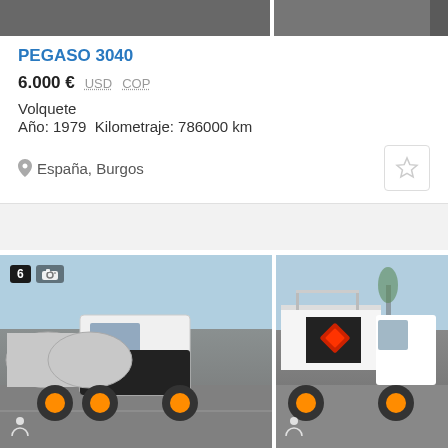[Figure (photo): Top strip showing partial vehicle images — cropped view of truck parts on dark background]
PEGASO 3040
6.000 € USD COP
Volquete
Año: 1979  Kilometraje: 786000 km
España, Burgos
[Figure (photo): Two photos of a Pegaso fuel tanker truck (cisterna) — left image shows front-left view, right image shows rear-right view with hazmat diamond on tank]
PEGASO